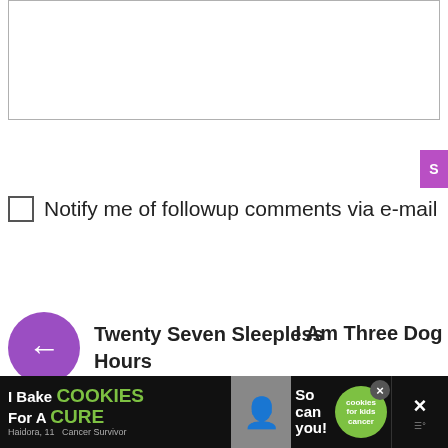[Figure (screenshot): Comment textarea input box (cropped at right edge)]
[Figure (screenshot): Submit button (purple/magenta, partially visible at right edge)]
☐ Notify me of followup comments via e-mail
[Figure (screenshot): Navigation: back arrow in purple circle linking to 'Twenty Seven Sleepless Hours']
Twenty Seven Sleepless Hours
I Am Three Dog (partially visible, cropped)
[Figure (infographic): Decorative green/yellow dotted banner strip]
About
Archives
Disclosure
Contact
FAQ
Photography
Newborn Identity
Hair Dos & How Tos
How To Cook
Babble (partially visible)
Momm... (partially visible)
Women (partially visible)
BuzzFe... (partially visible)
[Figure (screenshot): Ad banner: 'I Bake COOKIES For A CURE' with photo of girl, cookies for kids cancer logo, close button]